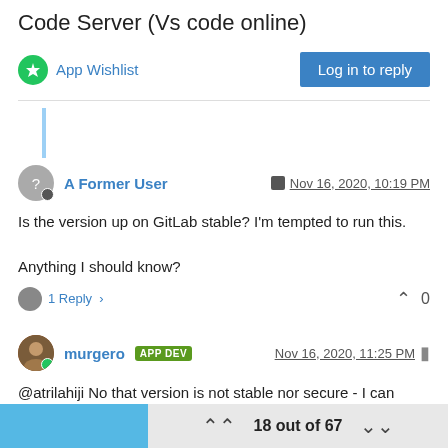Code Server (Vs code online)
App Wishlist | Log in to reply
A Former User | Nov 16, 2020, 10:19 PM
Is the version up on GitLab stable? I’m tempted to run this.

Anything I should know?
1 Reply > ⌃ 0
murgero APP DEV | Nov 16, 2020, 11:25 PM
@atrilahiji No that version is not stable nor secure - I can send you a private repo with a more secure, working model. PM when you have a few minutes.
18 out of 67